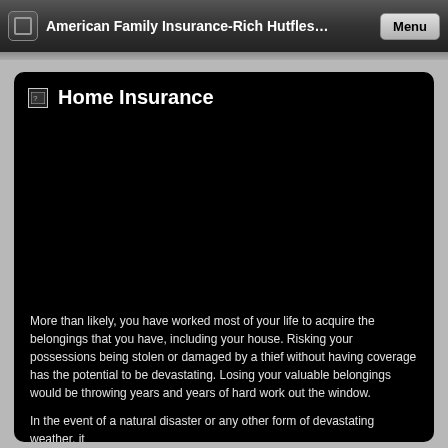American Family Insurance-Rich Hutfles…   Menu
Home Insurance
[Figure (photo): Home Insurance image placeholder (broken image icon shown, large black area)]
More than likely, you have worked most of your life to acquire the belongings that you have, including your house. Risking your possessions being stolen or damaged by a thief without having coverage has the potential to be devastating. Losing your valuable belongings would be throwing years and years of hard work out the window.
In the event of a natural disaster or any other form of devastating weather, it